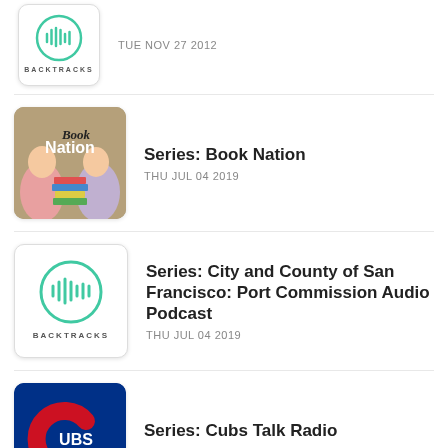TUE NOV 27 2012
Series: Book Nation
THU JUL 04 2019
Series: City and County of San Francisco: Port Commission Audio Podcast
THU JUL 04 2019
Series: Cubs Talk Radio
THU JAN 03 2019